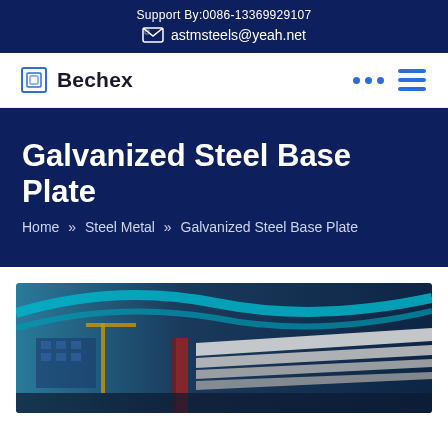Support By:0086-13369929107
astmsteels@yeah.net
Bechex
Galvanized Steel Base Plate
Home » Steel Metal » Galvanized Steel Base Plate
[Figure (photo): Industrial steel structure photo showing metal beams and construction infrastructure with teal/blue structural elements and steel plates]